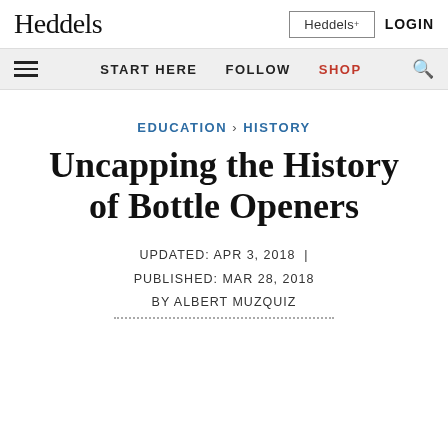Heddels
Heddels+ LOGIN
START HERE  FOLLOW  SHOP  🔍
EDUCATION › HISTORY
Uncapping the History of Bottle Openers
UPDATED: APR 3, 2018  |  PUBLISHED: MAR 28, 2018  BY ALBERT MUZQUIZ